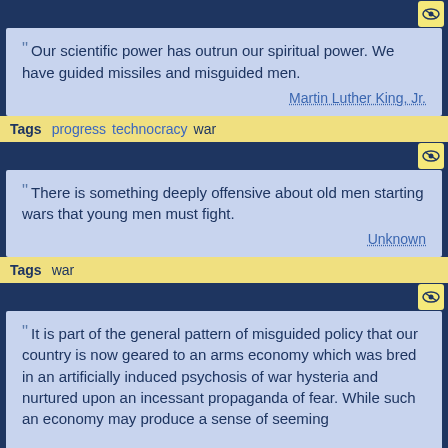Our scientific power has outrun our spiritual power. We have guided missiles and misguided men. — Martin Luther King, Jr.
Tags: progress technocracy war
There is something deeply offensive about old men starting wars that young men must fight. — Unknown
Tags: war
It is part of the general pattern of misguided policy that our country is now geared to an arms economy which was bred in an artificially induced psychosis of war hysteria and nurtured upon an incessant propaganda of fear. While such an economy may produce a sense of seeming